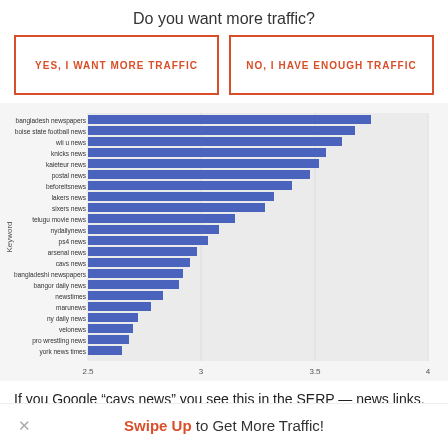Do you want more traffic?
YES, I WANT MORE TRAFFIC
NO, I HAVE ENOUGH TRAFFIC
[Figure (bar-chart): ]
If you Google “cavs news” you see this in the SERP — news links, an NBA.com organic result and the Twitter Firehose.
Swipe Up to Get More Traffic!